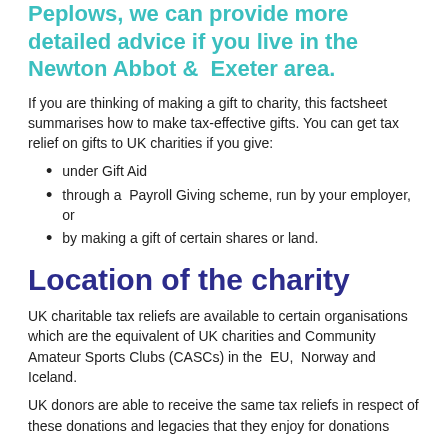Peplows, we can provide more detailed advice if you live in the Newton Abbot & Exeter area.
If you are thinking of making a gift to charity, this factsheet summarises how to make tax-effective gifts. You can get tax relief on gifts to UK charities if you give:
under Gift Aid
through a Payroll Giving scheme, run by your employer, or
by making a gift of certain shares or land.
Location of the charity
UK charitable tax reliefs are available to certain organisations which are the equivalent of UK charities and Community Amateur Sports Clubs (CASCs) in the EU, Norway and Iceland.
UK donors are able to receive the same tax reliefs in respect of these donations and legacies that they enjoy for donations